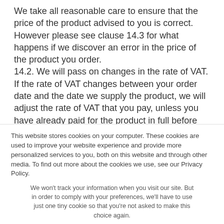We take all reasonable care to ensure that the price of the product advised to you is correct. However please see clause 14.3 for what happens if we discover an error in the price of the product you order.
14.2. We will pass on changes in the rate of VAT. If the rate of VAT changes between your order date and the date we supply the product, we will adjust the rate of VAT that you pay, unless you have already paid for the product in full before the change in the rate of VAT takes
This website stores cookies on your computer. These cookies are used to improve your website experience and provide more personalized services to you, both on this website and through other media. To find out more about the cookies we use, see our Privacy Policy.
We won't track your information when you visit our site. But in order to comply with your preferences, we'll have to use just one tiny cookie so that you're not asked to make this choice again.